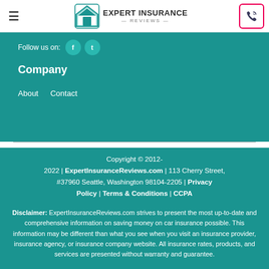Expert Insurance Reviews — navigation bar with hamburger menu, logo, and phone button
Follow us on:
Company
About
Contact
Copyright © 2012-2022 | ExpertInsuranceReviews.com | 113 Cherry Street, #37960 Seattle, Washington 98104-2205 | Privacy Policy | Terms & Conditions | CCPA
Disclaimer: ExpertInsuranceReviews.com strives to present the most up-to-date and comprehensive information on saving money on car insurance possible. This information may be different than what you see when you visit an insurance provider, insurance agency, or insurance company website. All insurance rates, products, and services are presented without warranty and guarantee.